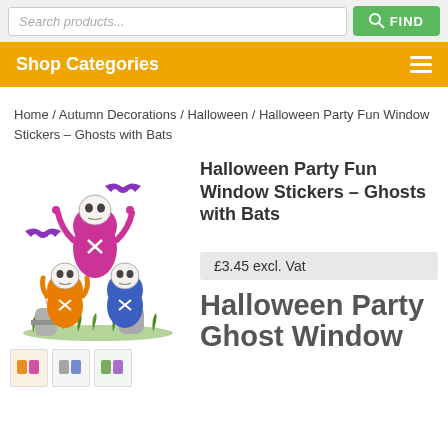Search products...  FIND
Shop Categories
Home / Autumn Decorations / Halloween / Halloween Party Fun Window Stickers – Ghosts with Bats
[Figure (photo): Illustration of cartoon Halloween ghost figures with skulls, bats, and a graveyard scene]
Halloween Party Fun Window Stickers – Ghosts with Bats
£3.45 excl. Vat
Halloween Party Ghost Window